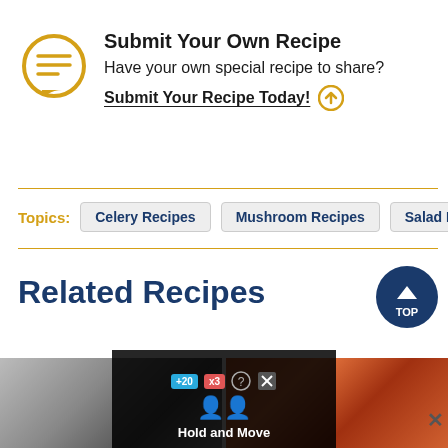[Figure (illustration): Golden circular chat bubble icon with horizontal lines inside, outlined in gold/yellow color]
Submit Your Own Recipe
Have your own special recipe to share?
Submit Your Recipe Today!
Topics: Celery Recipes  Mushroom Recipes  Salad Recipes
Related Recipes
[Figure (photo): Two food/outdoor photos partially visible at the bottom of the page, with an ad overlay showing a game interface with 'Hold and Move' text]